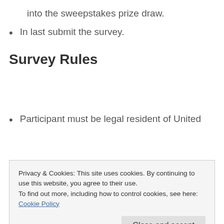into the sweepstakes prize draw.
In last submit the survey.
Survey Rules
Participant must be legal resident of United
Privacy & Cookies: This site uses cookies. By continuing to use this website, you agree to their use. To find out more, including how to control cookies, see here: Cookie Policy
Prizes are not transferable and must be